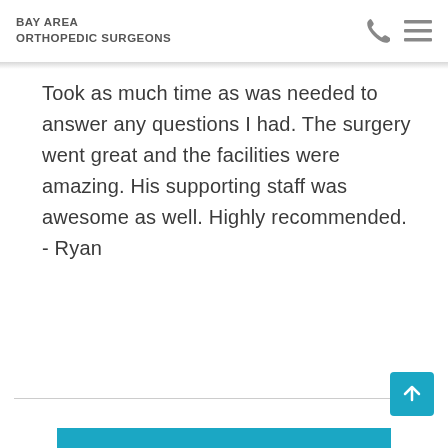BAY AREA ORTHOPEDIC SURGEONS
Took as much time as was needed to answer any questions I had. The surgery went great and the facilities were amazing. His supporting staff was awesome as well. Highly recommended.
- Ryan